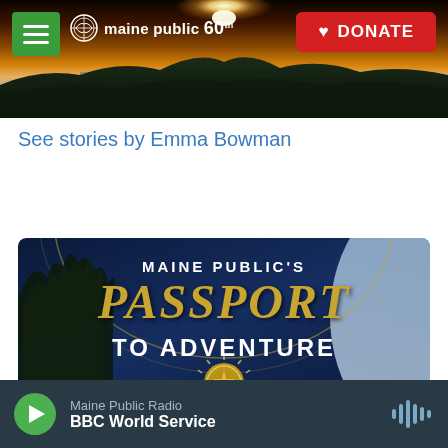[Figure (screenshot): Maine Public website header banner with landscape photo showing a sunrise/sunset over hills and water, with navigation hamburger menu button (green), Maine Public 60th anniversary logo, and red DONATE button]
See stories by Emma Bowman
[Figure (illustration): Maine Public's Passport to Adventure promotional graphic on dark navy blue background with gold text, tree silhouette on left, sky on right, and gold seal at bottom]
Maine Public Radio
BBC World Service